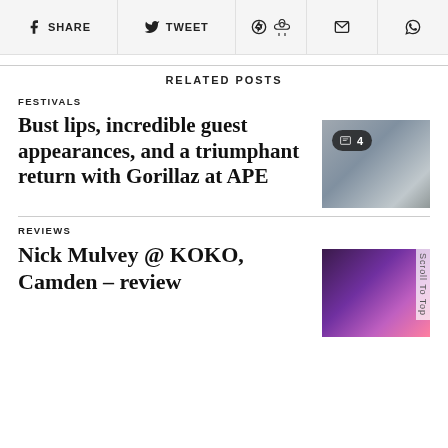SHARE  TWEET  Pinterest  Email  WhatsApp
RELATED POSTS
FESTIVALS
Bust lips, incredible guest appearances, and a triumphant return with Gorillaz at APE
[Figure (photo): Thumbnail image of Gorillaz at APE festival with a badge showing 4 images]
REVIEWS
Nick Mulvey @ KOKO, Camden – review
[Figure (photo): Thumbnail image for Nick Mulvey @ KOKO Camden review, purple/pink tones]